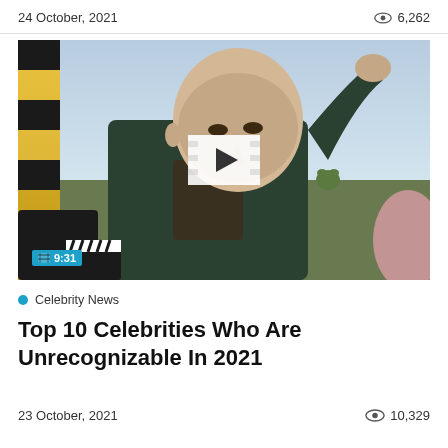24 October, 2021  👁 6,262
[Figure (photo): A bald person in a dark green hoodie raising their hand to their head, outdoors. Video thumbnail with play button overlay and 9:31 duration badge.]
Celebrity News
Top 10 Celebrities Who Are Unrecognizable In 2021
23 October, 2021  👁 10,329